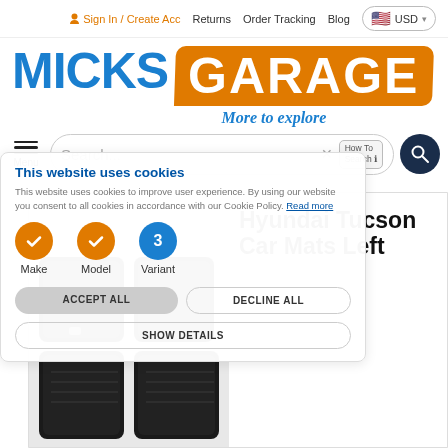Sign In / Create Acc   Returns   Order Tracking   Blog   USD
[Figure (logo): MicksGarage logo with blue MICKS text and orange GARAGE badge, tagline 'More to explore']
[Figure (screenshot): Search bar with hamburger menu icon labeled Menu, search input field with placeholder 'Search...', How To Search button, and dark search button]
This website uses cookies
This website uses cookies to improve user experience. By using our website you consent to all cookies in accordance with our Cookie Policy. Read more
[Figure (infographic): Cookie consent step indicators: orange checkmark circle labeled Make, orange checkmark circle labeled Model, blue circle with number 3 labeled Variant]
ACCEPT ALL   DECLINE ALL   SHOW DETAILS
[Figure (photo): Black Hyundai Tucson car floor mats set on grey background]
Hyundai Tucson Car Mats Left